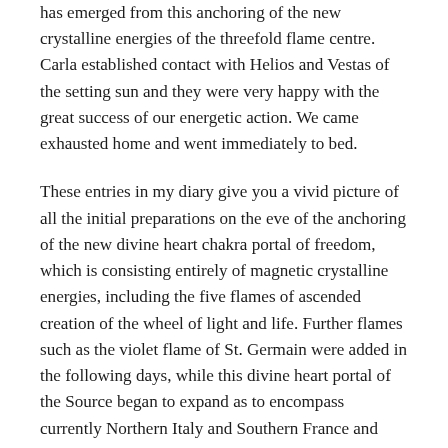has emerged from this anchoring of the new crystalline energies of the threefold flame centre. Carla established contact with Helios and Vestas of the setting sun and they were very happy with the great success of our energetic action. We came exhausted home and went immediately to bed.
These entries in my diary give you a vivid picture of all the initial preparations on the eve of the anchoring of the new divine heart chakra portal of freedom, which is consisting entirely of magnetic crystalline energies, including the five flames of ascended creation of the wheel of light and life. Further flames such as the violet flame of St. Germain were added in the following days, while this divine heart portal of the Source began to expand as to encompass currently Northern Italy and Southern France and also the Alpine countries up to Southern Germany (Bavaria), where I first started with the building of the city of light years ago.